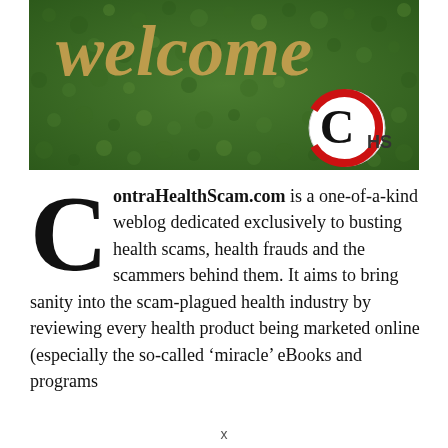[Figure (photo): Welcome sign with cursive wooden letters on a green hedge/grass wall background, with a circular logo in the bottom right showing a red C with 'HS' letters — the ContraHealthScam logo]
ContraHealthScam.com is a one-of-a-kind weblog dedicated exclusively to busting health scams, health frauds and the scammers behind them. It aims to bring sanity into the scam-plagued health industry by reviewing every health product being marketed online (especially the so-called ‘miracle’ eBooks and programs
x